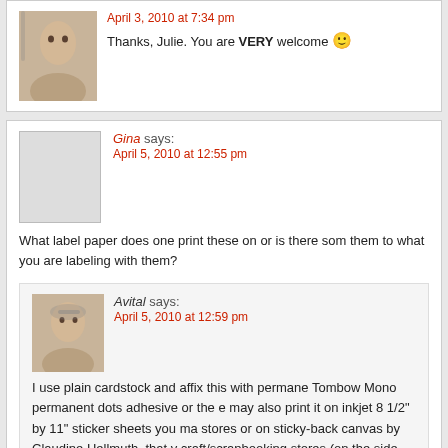April 3, 2010 at 7:34 pm
Thanks, Julie. You are VERY welcome 🙂
Gina says:
April 5, 2010 at 12:55 pm
What label paper does one print these on or is there some way to adhere them to what you are labeling with them?
Avital says:
April 5, 2010 at 12:59 pm
I use plain cardstock and affix this with permanent adhesive like Tombow Mono permanent dots adhesive or the e... You may also print it on inkjet 8 1/2" by 11" sticker sheets you may find at office stores or on sticky-back canvas by Claudine Hellmuth, that you can find in craft/scrapbooking stores (on the side bar you have links to s...
Sandy says:
April 7, 2010 at 11:18 pm